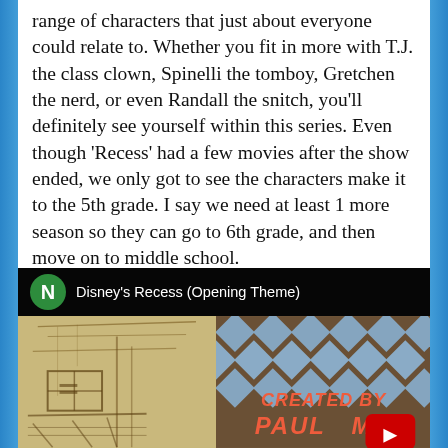range of characters that just about everyone could relate to. Whether you fit in more with T.J. the class clown, Spinelli the tomboy, Gretchen the nerd, or even Randall the snitch, you'll definitely see yourself within this series. Even though 'Recess' had a few movies after the show ended, we only got to see the characters make it to the 5th grade. I say we need at least 1 more season so they can go to 6th grade, and then move on to middle school.
[Figure (screenshot): YouTube video embed thumbnail showing Disney's Recess Opening Theme video with a green N avatar icon, animated scene with sketched building on left and diamond-pattern wall on right, 'CREATED BY PAUL [MA...]' text in red italic, and YouTube play button.]